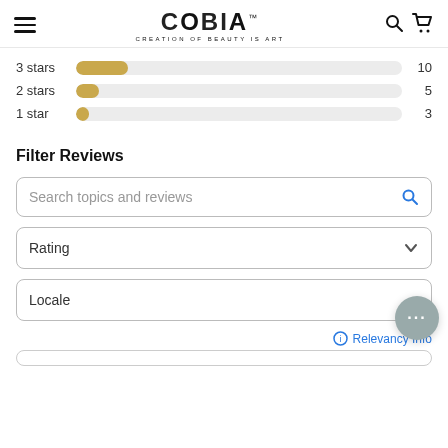COBIA - CREATION OF BEAUTY IS ART
[Figure (bar-chart): Rating distribution]
Filter Reviews
Search topics and reviews
Rating
Locale
Relevancy Info